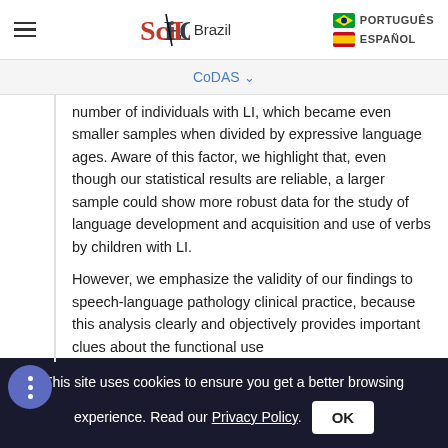SciELO Brazil | PORTUGUÊS | ESPAÑOL
CoDAS
number of individuals with LI, which became even smaller samples when divided by expressive language ages. Aware of this factor, we highlight that, even though our statistical results are reliable, a larger sample could show more robust data for the study of language development and acquisition and use of verbs by children with LI.
However, we emphasize the validity of our findings to speech-language pathology clinical practice, because this analysis clearly and objectively provides important clues about the functional use
This site uses cookies to ensure you get a better browsing experience. Read our Privacy Policy. OK